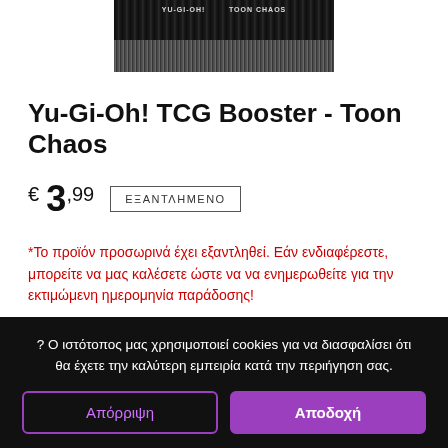[Figure (photo): Product image showing Yu-Gi-Oh! TCG Booster - Toon Chaos card pack, dark/black background with stylized text]
Yu-Gi-Oh! TCG Booster - Toon Chaos
€ 3,99  ΕΞΑΝΤΛΗΜΕΝΟ
*Το προϊόν προσωρινά έχει εξαντληθεί. Εάν ενδιαφέρεστε, μπορείτε να μας καλέσετε ώστε να να ενημερωθείτε για την εκτιμώμενη ημερομηνία παράδοσης!
? Ο ιστότοπος μας χρησιμοποιεί cookies για να διασφαλίσει ότι θα έχετε την καλύτερη εμπειρία κατά την περιήγηση σας.
Απόρριψη  Αποδοχή